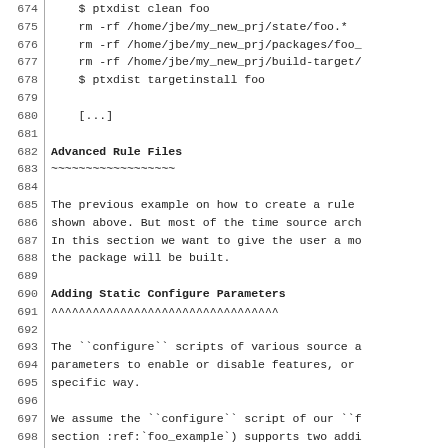674    $ ptxdist clean foo
675    rm -rf /home/jbe/my_new_prj/state/foo.*
676    rm -rf /home/jbe/my_new_prj/packages/foo_
677    rm -rf /home/jbe/my_new_prj/build-target/
678    $ ptxdist targetinstall foo
679
680    [...]
681
682 Advanced Rule Files
683 ~~~~~~~~~~~~~~~~~~
684
685 The previous example on how to create a rule
686 shown above. But most of the time source arch
687 In this section we want to give the user a mo
688 the package will be built.
689
690 Adding Static Configure Parameters
691 ^^^^^^^^^^^^^^^^^^^^^^^^^^^^^^^^^
692
693 The ``configure`` scripts of various source a
694 parameters to enable or disable features, or
695 specific way.
696
697 We assume the ``configure`` script of our ``f
698 section :ref:`foo_example`) supports two addi
699
700 -   **--enable-debug**: Make the program more
701     default.
702
703 -   **--with-bar**: Also build the special ex